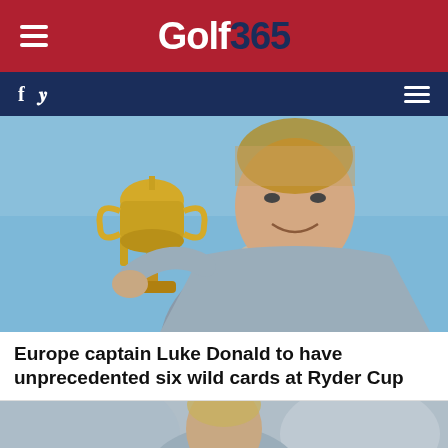Golf 365
[Figure (photo): Man in grey blazer holding the Ryder Cup trophy against a blue sky background]
Europe captain Luke Donald to have unprecedented six wild cards at Ryder Cup
[Figure (photo): Partial photo of another golfer at the bottom of the page]